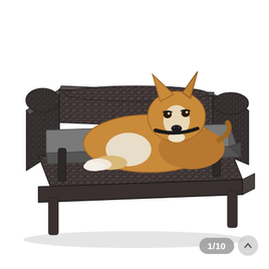[Figure (photo): A Corgi dog lying on a dark wicker/rattan pet sofa bed with a gray cushion. The bed has raised armrests on the back and sides, four short legs, and is photographed on a white background. The dog is golden and white in color, resting with its head up and tongue slightly visible.]
1/10